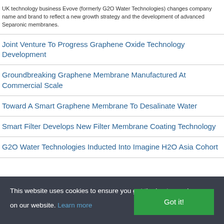UK technology business Evove (formerly G2O Water Technologies) changes company name and brand to reflect a new growth strategy and the development of advanced Separonic membranes.
Joint Venture To Progress Graphene Oxide Technology Development
Groundbreaking Graphene Membrane Manufactured At Commercial Scale
Toward A Smart Graphene Membrane To Desalinate Water
Smart Filter Develops New Filter Membrane Coating Technology
G2O Water Technologies Inducted Into Imagine H2O Asia Cohort
This website uses cookies to ensure you get the best experience on our website. Learn more